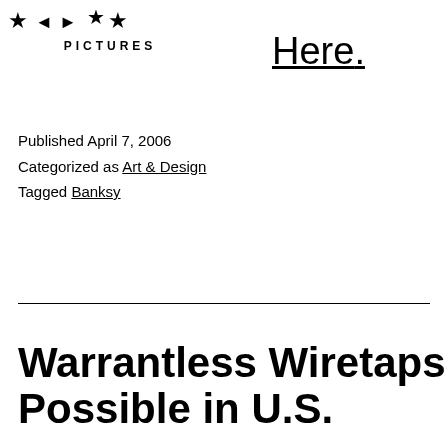[Figure (logo): Stars and Pictures logo with star symbols above text reading PICTURES]
Here.
Published April 7, 2006
Categorized as Art & Design
Tagged Banksy
Warrantless Wiretaps Possible in U.S.